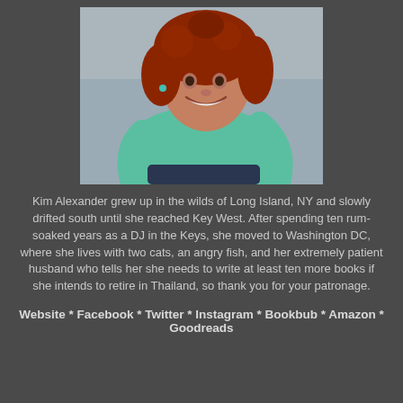[Figure (photo): Author photo of Kim Alexander, a woman with curly red hair wearing a teal/mint green long-sleeve shirt, smiling and seated]
Kim Alexander grew up in the wilds of Long Island, NY and slowly drifted south until she reached Key West. After spending ten rum-soaked years as a DJ in the Keys, she moved to Washington DC, where she lives with two cats, an angry fish, and her extremely patient husband who tells her she needs to write at least ten more books if she intends to retire in Thailand, so thank you for your patronage.
Website * Facebook * Twitter * Instagram * Bookbub * Amazon * Goodreads